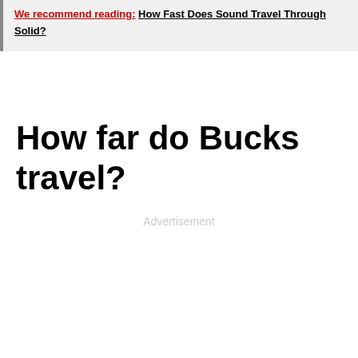We recommend reading: How Fast Does Sound Travel Through Solid?
How far do Bucks travel?
Advertisement